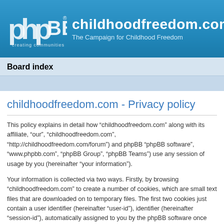[Figure (logo): phpBB logo with text 'creating communities' and site header showing childhoodfreedom.com - The Campaign for Childhood Freedom on blue gradient background]
Board index
childhoodfreedom.com - Privacy policy
This policy explains in detail how “childhoodfreedom.com” along with its affiliate, “our”, “childhoodfreedom.com”, “http://childhoodfreedom.com/forum”) and phpBB “phpBB software”, “www.phpbb.com”, “phpBB Group”, “phpBB Teams”) use any session of usage by you (hereinafter “your information”).
Your information is collected via two ways. Firstly, by browsing “childhoodfreedom.com” to create a number of cookies, which are small text files that are downloaded on to temporary files. The first two cookies just contain a user identifier (hereinafter “user-id”), identifier (hereinafter “session-id”), automatically assigned to you by the phpBB software once you have browsed topics within “childhoodfreedom.com” and is used to store thereby improving your user experience.
We may also create cookies external to the phpBB software whilst browsing “childhoodfreedom.com”, though these are outside the scope of this document which is intended to only cover the page. The second way in which we collect your information is by what you submit to us.